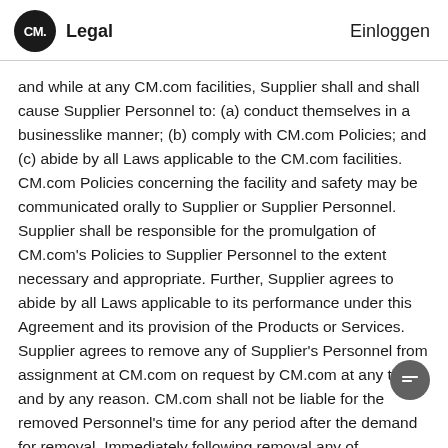CM. Legal   Einloggen
and while at any CM.com facilities, Supplier shall and shall cause Supplier Personnel to: (a) conduct themselves in a businesslike manner; (b) comply with CM.com Policies; and (c) abide by all Laws applicable to the CM.com facilities. CM.com Policies concerning the facility and safety may be communicated orally to Supplier or Supplier Personnel. Supplier shall be responsible for the promulgation of CM.com's Policies to Supplier Personnel to the extent necessary and appropriate. Further, Supplier agrees to abide by all Laws applicable to its performance under this Agreement and its provision of the Products or Services. Supplier agrees to remove any of Supplier's Personnel from assignment at CM.com on request by CM.com at any time and by any reason. CM.com shall not be liable for the removed Personnel's time for any period after the demand for removal. Immediately following removal any of Supplier's Personnel, Supplier shall assign a suitable replacement.